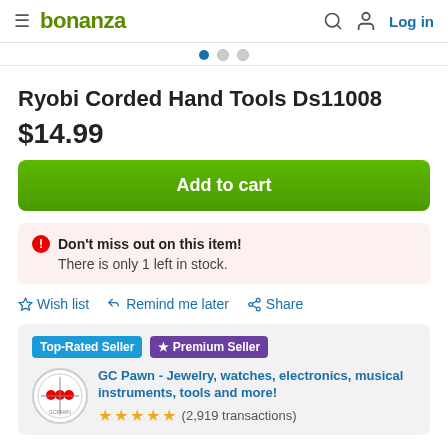bonanza | Log in
Ryobi Corded Hand Tools Ds11008
$14.99
Add to cart
Don't miss out on this item! There is only 1 left in stock.
Wish list   Remind me later   Share
Top-Rated Seller   Premium Seller
GC Pawn - Jewelry, watches, electronics, musical instruments, tools and more!
(2,919 transactions)